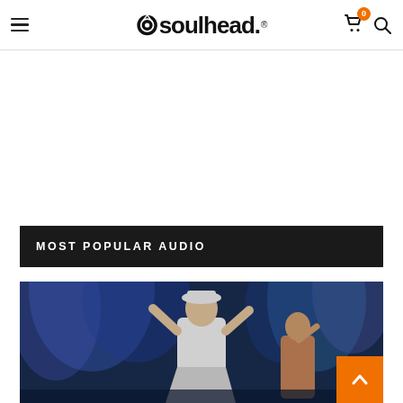soulhead. [navigation with hamburger menu, cart (0), and search icons]
MOST POPULAR AUDIO
[Figure (photo): Concert stage photo showing a performer in a white outfit with arms raised under blue stage lighting, with another performer visible to the right.]